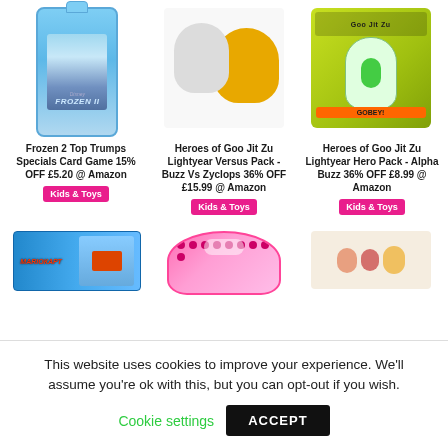[Figure (photo): Frozen 2 Top Trumps card game in blue packaging]
Frozen 2 Top Trumps Specials Card Game 15% OFF £5.20 @ Amazon
Kids & Toys
[Figure (photo): Heroes of Goo Jit Zu Lightyear Versus Pack - Buzz Vs Zyclops figures]
Heroes of Goo Jit Zu Lightyear Versus Pack - Buzz Vs Zyclops 36% OFF £15.99 @ Amazon
Kids & Toys
[Figure (photo): Heroes of Goo Jit Zu Lightyear Hero Pack - Alpha Buzz in green packaging]
Heroes of Goo Jit Zu Lightyear Hero Pack - Alpha Buzz 36% OFF £8.99 @ Amazon
Kids & Toys
[Figure (photo): Mario Kart box product]
[Figure (photo): Pink unicorn tin/box product]
[Figure (photo): Small animal figurines product]
This website uses cookies to improve your experience. We'll assume you're ok with this, but you can opt-out if you wish.
Cookie settings
ACCEPT